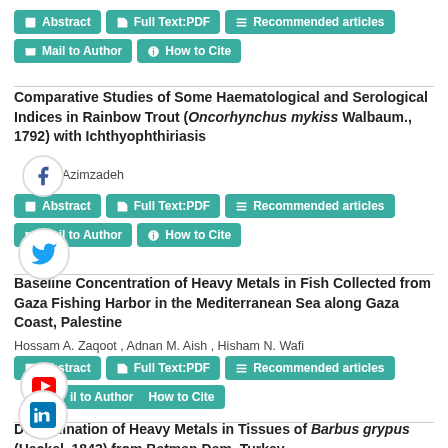Abstract | Full Text:PDF | Recommended articles | Mail to Author | How to Cite
Comparative Studies of Some Haematological and Serological Indices in Rainbow Trout (Oncorhynchus mykiss Walbaum., 1792) with Ichthyophthiriasis
Azimzadeh
Abstract | Full Text:PDF | Recommended articles | Mail to Author | How to Cite
Baseline Concentration of Heavy Metals in Fish Collected from Gaza Fishing Harbor in the Mediterranean Sea along Gaza Coast, Palestine
Hossam A. Zaqoot , Adnan M. Aish , Hisham N. Wafi
Abstract | Full Text:PDF | Recommended articles | Mail to Author | How to Cite
Determination of Heavy Metals in Tissues of Barbus grypus (Heckel, 1843) from Batman Dam, Turkey